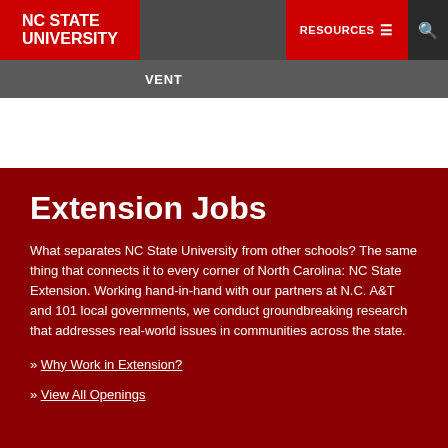NC STATE UNIVERSITY | RESOURCES ☰ 🔍
VENT
Extension Jobs
What separates NC State University from other schools? The same thing that connects it to every corner of North Carolina: NC State Extension. Working hand-in-hand with our partners at N.C. A&T and 101 local governments, we conduct groundbreaking research that addresses real-world issues in communities across the state.
» Why Work in Extension?
» View All Openings